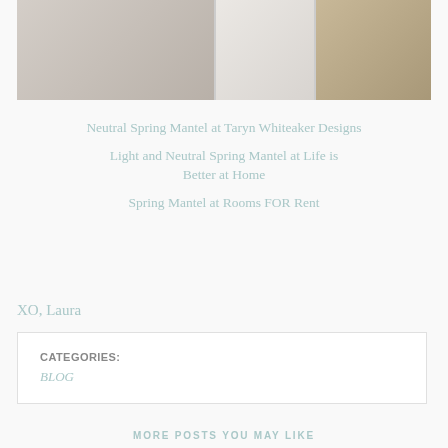[Figure (photo): Three-panel interior design photo strip showing a living room chair, decorative vases and frames, and a wooden dresser]
Neutral Spring Mantel at Taryn Whiteaker Designs
Light and Neutral Spring Mantel at Life is Better at Home
Spring Mantel at Rooms FOR Rent
XO, Laura
CATEGORIES:
BLOG
MORE POSTS YOU MAY LIKE